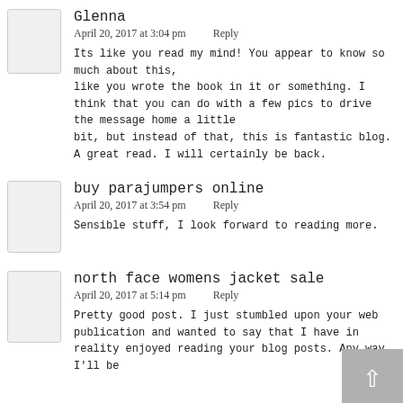Glenna
April 20, 2017 at 3:04 pm    Reply
Its like you read my mind! You appear to know so much about this,
like you wrote the book in it or something. I think that you can do with a few pics to drive the message home a little
bit, but instead of that, this is fantastic blog.
A great read. I will certainly be back.
buy parajumpers online
April 20, 2017 at 3:54 pm    Reply
Sensible stuff, I look forward to reading more.
north face womens jacket sale
April 20, 2017 at 5:14 pm    Reply
Pretty good post. I just stumbled upon your web publication and wanted to say that I have in reality enjoyed reading your blog posts. Any way I'll be